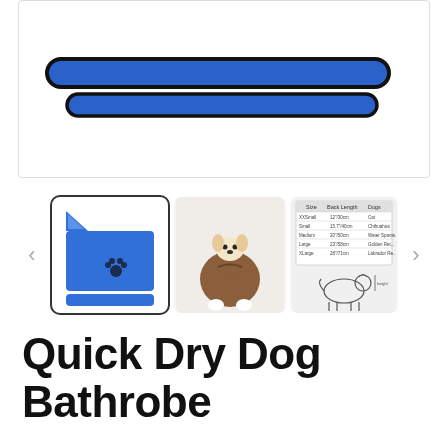[Figure (photo): Product photo of two blue microfiber dog bathrobe straps/belts with black trim edging on white background]
[Figure (photo): Three product thumbnail images: (1) folded blue dog bathrobe towel with paw print logo, (2) small dog wearing brown hooded bathrobe, (3) size chart table with dog silhouette diagram]
Quick Dry Dog Bathrobe